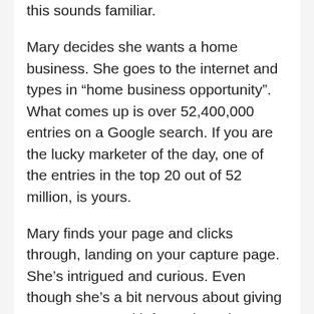this sounds familiar.
Mary decides she wants a home business. She goes to the internet and types in “home business opportunity”. What comes up is over 52,400,000 entries on a Google search. If you are the lucky marketer of the day, one of the entries in the top 20 out of 52 million, is yours.
Mary finds your page and clicks through, landing on your capture page. She’s intrigued and curious. Even though she’s a bit nervous about giving out any personal information, she puts her name and email